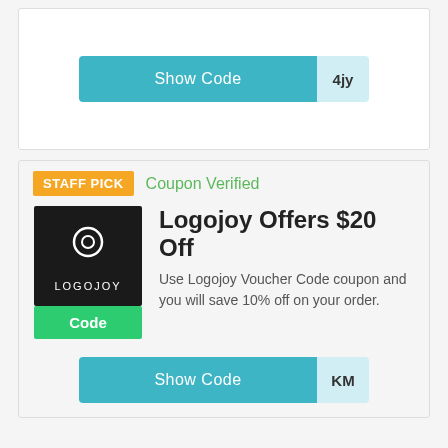[Figure (screenshot): Show Code button with teal background and code '4jy' visible on light blue tab at right]
STAFF PICK
Coupon Verified
[Figure (logo): Logojoy logo: black square with circle and 'LOGOJOY' text in white]
Code
Logojoy Offers $20 Off
Use Logojoy Voucher Code coupon and you will save 10% off on your order.
[Figure (screenshot): Show Code button with teal background and code 'KM' visible on light blue tab at right]